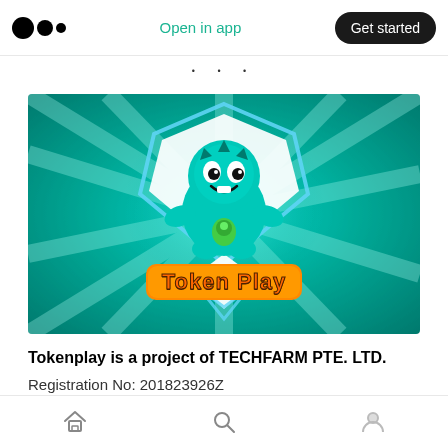Open in app | Get started
· · ·
[Figure (illustration): Token Play logo on teal/turquoise background. A cute teal cartoon dragon/dinosaur character sitting on a shield badge shape, holding a green item. Text 'Token Play' in orange with dark outline below the character on the shield.]
Tokenplay is a project of TECHFARM PTE. LTD.
Registration No: 201823926Z
Registered Office: 160 ROBINSON ROAD #26–10
Home | Search | Profile